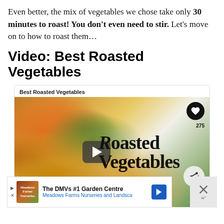Even better, the mix of vegetables we chose take only 30 minutes to roast! You don't even need to stir. Let's move on to how to roast them…
Video: Best Roasted Vegetables
[Figure (screenshot): Embedded video player showing a bowl of roasted vegetables including cauliflower, broccoli, sweet potatoes, carrots and red onion. The video thumbnail has a play button overlay, text overlay reading 'Roasted Vegetables', a heart/like icon with count 275, and a share button. Video caption reads 'Best Roasted Vegetables'.]
The DMVs #1 Garden Centre
Meadows Farms Nurseries and Landsca